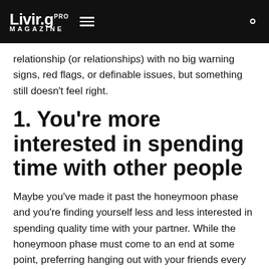Livir.g PRO MAGAZINE
relationship (or relationships) with no big warning signs, red flags, or definable issues, but something still doesn't feel right.
1. You're more interested in spending time with other people
Maybe you've made it past the honeymoon phase and you're finding yourself less and less interested in spending quality time with your partner. While the honeymoon phase must come to an end at some point, preferring hanging out with your friends every night you're free or dreading plans with your significant other...